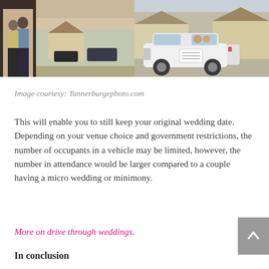[Figure (photo): Two photos side by side: left shows a couple standing at a doorway looking out at cars in a suburban neighborhood; right shows a white SUV decorated with a sign parked in a suburban driveway with people inside.]
Image courtesy: Tannerburgephoto.com
This will enable you to still keep your original wedding date. Depending on your venue choice and government restrictions, the number of occupants in a vehicle may be limited, however, the number in attendance would be larger compared to a couple having a micro wedding or minimony.
More on drive through weddings.
In conclusion